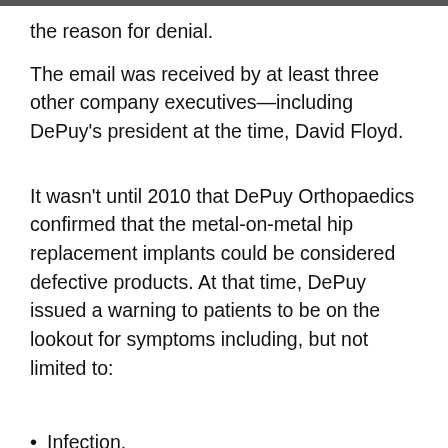the reason for denial.
The email was received by at least three other company executives—including DePuy's president at the time, David Floyd.
It wasn't until 2010 that DePuy Orthopaedics confirmed that the metal-on-metal hip replacement implants could be considered defective products. At that time, DePuy issued a warning to patients to be on the lookout for symptoms including, but not limited to:
Infection.